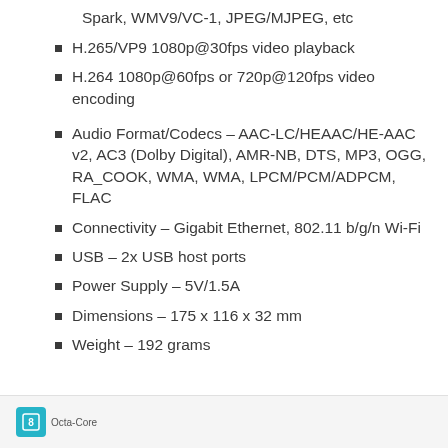Spark, WMV9/VC-1, JPEG/MJPEG, etc
H.265/VP9 1080p@30fps video playback
H.264 1080p@60fps or 720p@120fps video encoding
Audio Format/Codecs – AAC-LC/HEAAC/HE-AAC v2, AC3 (Dolby Digital), AMR-NB, DTS, MP3, OGG, RA_COOK, WMA, WMA, LPCM/PCM/ADPCM, FLAC
Connectivity – Gigabit Ethernet, 802.11 b/g/n Wi-Fi
USB – 2x USB host ports
Power Supply – 5V/1.5A
Dimensions – 175 x 116 x 32 mm
Weight – 192 grams
[Figure (logo): Octa-Core badge icon at bottom of page]